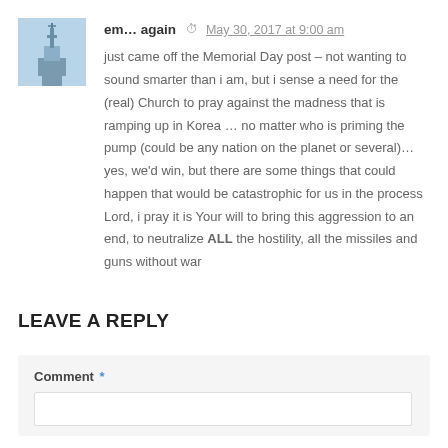[Figure (photo): Square avatar photo showing a church steeple/tower against a light blue sky background.]
em… again  May 30, 2017 at 9:00 am
just came off the Memorial Day post – not wanting to sound smarter than i am, but i sense a need for the (real) Church to pray against the madness that is ramping up in Korea … no matter who is priming the pump (could be any nation on the planet or several)… yes, we'd win, but there are some things that could happen that would be catastrophic for us in the process
Lord, i pray it is Your will to bring this aggression to an end, to neutralize ALL the hostility, all the missiles and guns without war
LEAVE A REPLY
Comment *